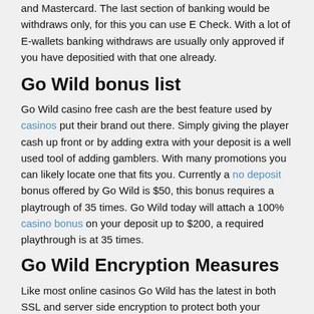and Mastercard. The last section of banking would be withdraws only, for this you can use E Check. With a lot of E-wallets banking withdraws are usually only approved if you have depositied with that one already.
Go Wild bonus list
Go Wild casino free cash are the best feature used by casinos put their brand out there. Simply giving the player cash up front or by adding extra with your deposit is a well used tool of adding gamblers. With many promotions you can likely locate one that fits you. Currently a no deposit bonus offered by Go Wild is $50, this bonus requires a playtrough of 35 times. Go Wild today will attach a 100% casino bonus on your deposit up to $200, a required playthrough is at 35 times.
Go Wild Encryption Measures
Like most online casinos Go Wild has the latest in both SSL and server side encryption to protect both your details as well as banking transactions. Go Wild casino works very hard to provide slot machines that are backed with certified RNG auditing while logging your activity. Strong restrictions on Under 21 gambling are used at Go Wild to both comply with casino licensing and protect the players. Security and customer protection is an important part of the Go Wild operations as they move to ensure a safe product